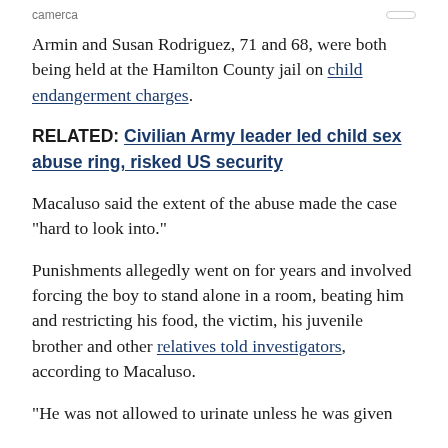camerca
Armin and Susan Rodriguez, 71 and 68, were both being held at the Hamilton County jail on child endangerment charges.
RELATED: Civilian Army leader led child sex abuse ring, risked US security
Macaluso said the extent of the abuse made the case "hard to look into."
Punishments allegedly went on for years and involved forcing the boy to stand alone in a room, beating him and restricting his food, the victim, his juvenile brother and other relatives told investigators, according to Macaluso.
"He was not allowed to urinate unless he was given